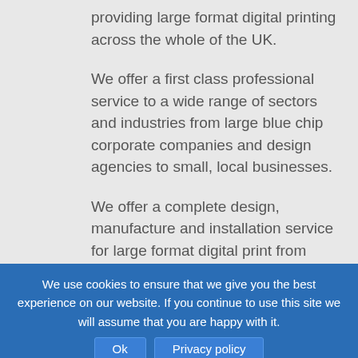providing large format digital printing across the whole of the UK.
We offer a first class professional service to a wide range of sectors and industries from large blue chip corporate companies and design agencies to small, local businesses.
We offer a complete design, manufacture and installation service for large format digital print from exhibition graphics, outdoor banners, to in-store signage, merchandising material and pull-up
We use cookies to ensure that we give you the best experience on our website. If you continue to use this site we will assume that you are happy with it.